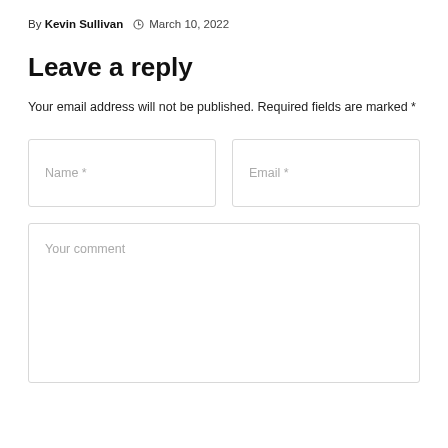By Kevin Sullivan  © March 10, 2022
Leave a reply
Your email address will not be published. Required fields are marked *
[Figure (other): A web comment form with two input fields (Name *, Email *) side by side, and a large textarea labeled 'Your comment' below.]